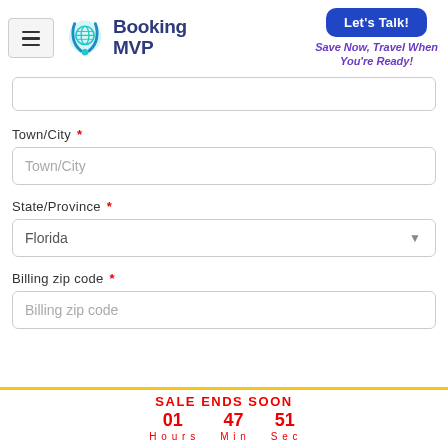[Figure (logo): Booking MVP logo with teal phone/globe icon and dark blue text reading 'Booking MVP']
Let's Talk!
Save Now, Travel When You're Ready!
Town/City *
Town/City
State/Province *
Florida
Billing zip code *
Billing zip code
SALE ENDS SOON
01 Hours
47 Min
51 Sec